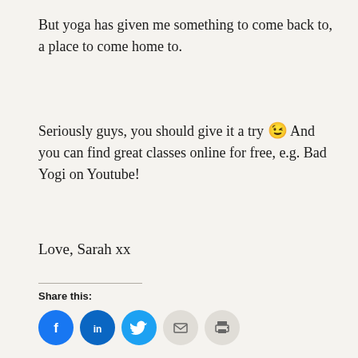But yoga has given me something to come back to, a place to come home to.
Seriously guys, you should give it a try 😉 And you can find great classes online for free, e.g. Bad Yogi on Youtube!
Love, Sarah xx
Share this: